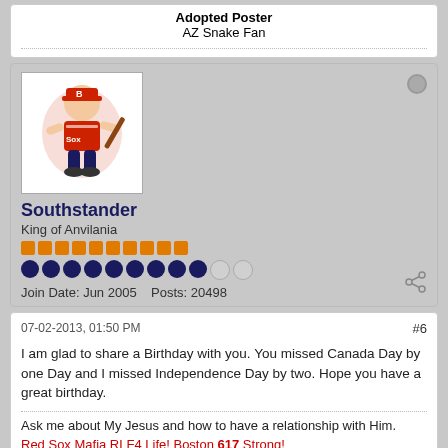Adopted Poster
AZ Snake Fan
[Figure (illustration): Forum user avatar showing a Red Sox style illustrated figure with bat]
Southstander
King of Anvilania
Join Date: Jun 2005    Posts: 20498
07-02-2013, 01:50 PM
#6
I am glad to share a Birthday with you. You missed Canada Day by one Day and I missed Independence Day by two. Hope you have a great birthday.
Ask me about My Jesus and how to have a relationship with Him.
Red Sox Mafia RLF4 Life! Boston 617 Strong!
sigpic